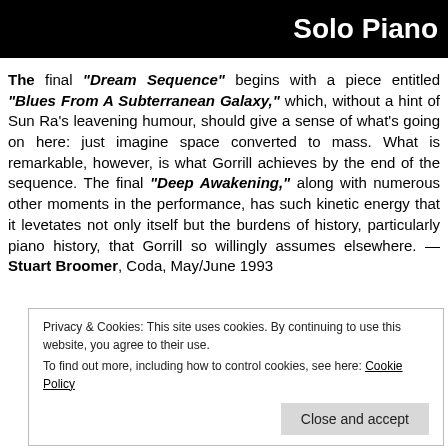Solo Piano
The final “Dream Sequence” begins with a piece entitled “Blues From A Subterranean Galaxy,” which, without a hint of Sun Ra’s leavening humour, should give a sense of what’s going on here: just imagine space converted to mass. What is remarkable, however, is what Gorrill achieves by the end of the sequence. The final “Deep Awakening,” along with numerous other moments in the performance, has such kinetic energy that it levetates not only itself but the burdens of history, particularly piano history, that Gorrill so willingly assumes elsewhere. — Stuart Broomer, Coda, May/June 1993
Privacy & Cookies: This site uses cookies. By continuing to use this website, you agree to their use.
To find out more, including how to control cookies, see here: Cookie Policy